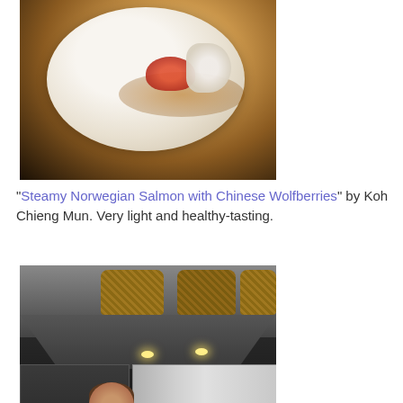[Figure (photo): Close-up photo of a plate with steamed salmon and Chinese wolfberries in a light broth, on a dark background]
"Steamy Norwegian Salmon with Chinese Wolfberries" by Koh Chieng Mun. Very light and healthy-tasting.
[Figure (photo): Photo of a chef in white uniform working in a professional kitchen with De Dietrich ovens and stainless steel appliances, wicker baskets on shelves above]